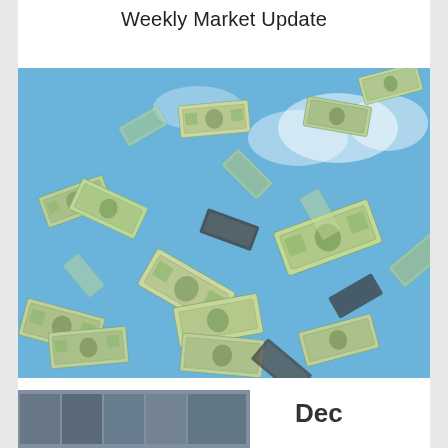Weekly Market Update
[Figure (photo): Photograph of US dollar bills falling through a blue sky with clouds, depicting money raining down from above.]
[Figure (photo): Partial thumbnail image visible at bottom left of page, appears to be another market-related photo.]